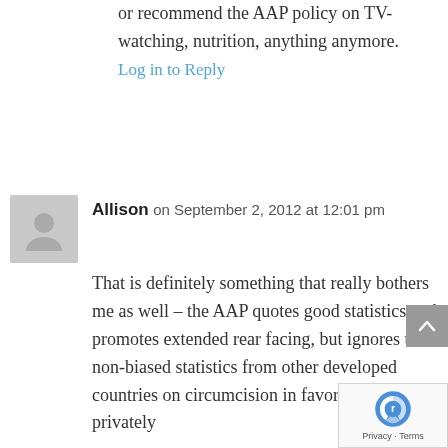or recommend the AAP policy on TV-watching, nutrition, anything anymore.
Log in to Reply
Allison on September 2, 2012 at 12:01 pm
That is definitely something that really bothers me as well – the AAP quotes good statistics and promotes extended rear facing, but ignores the non-biased statistics from other developed countries on circumcision in favor of their own privately